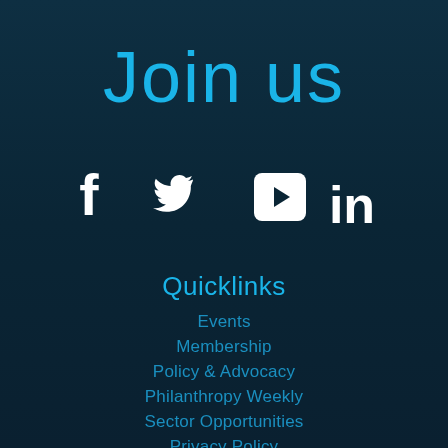Join us
[Figure (illustration): Four social media icons: Facebook (f), Twitter (bird), YouTube (play button), LinkedIn (in) in white on dark teal background]
Quicklinks
Events
Membership
Policy & Advocacy
Philanthropy Weekly
Sector Opportunities
Privacy Policy
About PA